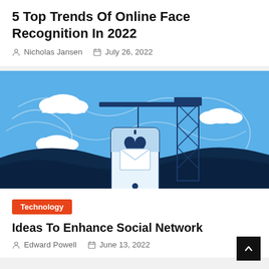5 Top Trends Of Online Face Recognition In 2022
Nicholas Jansen   July 26, 2022
[Figure (illustration): Blue-themed illustration showing a construction crane holding a heart symbol over a smartphone, with cloud shapes and wavy dark hills in the background.]
Technology
Ideas To Enhance Social Network
Edward Powell   June 13, 2022